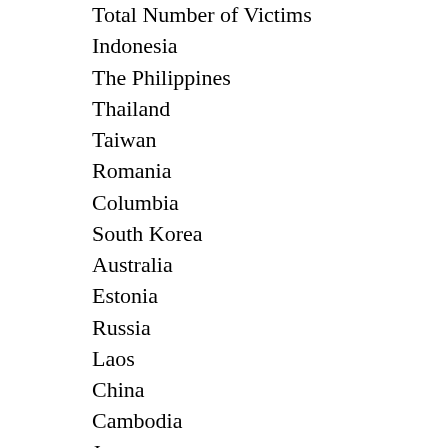Total Number of Victims
Indonesia
The Philippines
Thailand
Taiwan
Romania
Columbia
South Korea
Australia
Estonia
Russia
Laos
China
Cambodia
Japan
Question 10
In the case where the direct destination (or Cit